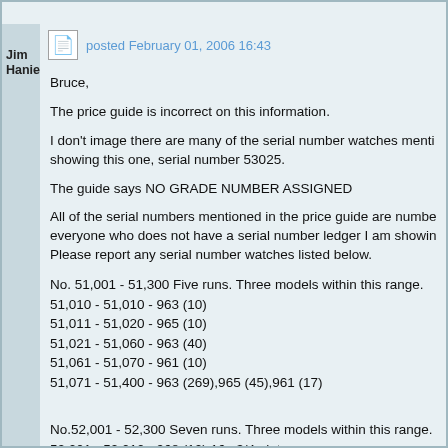Jim Hanie
posted February 01, 2006 16:43
Bruce,
The price guide is incorrect on this information.
I don't image there are many of the serial number watches mentioned showing this one, serial number 53025.
The guide says NO GRADE NUMBER ASSIGNED
All of the serial numbers mentioned in the price guide are numbered, everyone who does not have a serial number ledger I am showing. Please report any serial number watches listed below.
No. 51,001 - 51,300 Five runs. Three models within this range.
51,010 - 51,010 - 963 (10)
51,011 - 51,020 - 965 (10)
51,021 - 51,060 - 963 (40)
51,061 - 51,070 - 961 (10)
51,071 - 51,400 - 963 (269),965 (45),961 (17)
No.52,001 - 52,300 Seven runs. Three models within this range.
52,001 - 52,010 - 968 (10) 16s 3/4 plate
52,011 - 52,070 - 972 (60)
52,071 - 52,080 - 968 (10)
52,081 - 52,090 - 972 (10)
52,091 - 52,100 - 968 (10)